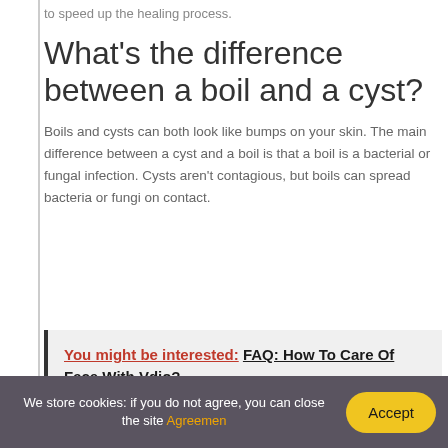to speed up the healing process.
What's the difference between a boil and a cyst?
Boils and cysts can both look like bumps on your skin. The main difference between a cyst and a boil is that a boil is a bacterial or fungal infection. Cysts aren't contagious, but boils can spread bacteria or fungi on contact.
You might be interested:  FAQ: How To Care Of Face With Vdio?
We store cookies: if you do not agree, you can close the site Agreemen